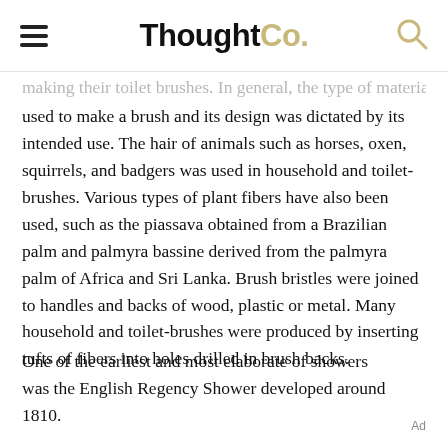ThoughtCo.
making their toilet brushes. In general, the type of material used to make a brush and its design was dictated by its intended use. The hair of animals such as horses, oxen, squirrels, and badgers was used in household and toilet-brushes. Various types of plant fibers have also been used, such as the piassava obtained from a Brazilian palm and palmyra bassine derived from the palmyra palm of Africa and Sri Lanka. Brush bristles were joined to handles and backs of wood, plastic or metal. Many household and toilet-brushes were produced by inserting tufts of fibers into holes drilled in brush backs.
One of the earliest and most elaborate of showers was the English Regency Shower developed around 1810.